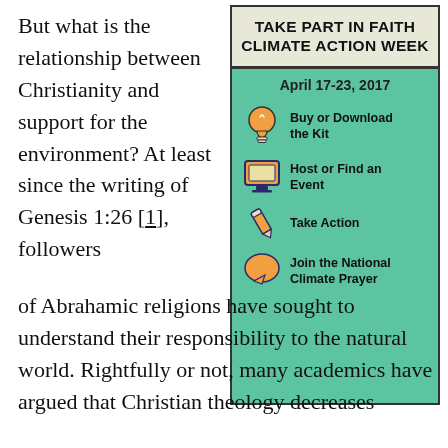But what is the relationship between Christianity and support for the environment? At least since the writing of Genesis 1:26 [1], followers
[Figure (infographic): Infographic box titled 'TAKE PART IN FAITH CLIMATE ACTION WEEK' with date April 17-23, 2017 and four action items: Buy or Download the Kit (lightbulb icon), Host or Find an Event (monitor icon), Take Action (pencil icon), Join the National Climate Prayer (speech bubble icon). Background is mint/teal green with a beige header.]
of Abrahamic religions have sought to understand their responsibility to the natural world. Rightfully or not, many academics have argued that Christian theology decreases